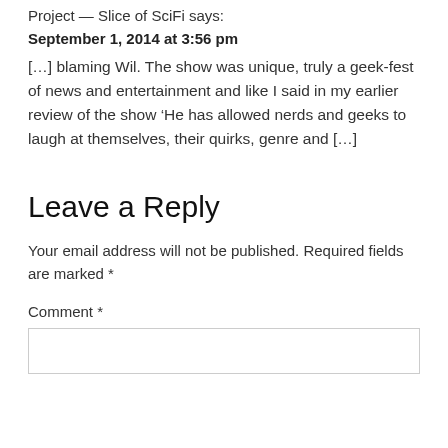Project — Slice of SciFi says:
September 1, 2014 at 3:56 pm
[…] blaming Wil. The show was unique, truly a geek-fest of news and entertainment and like I said in my earlier review of the show 'He has allowed nerds and geeks to laugh at themselves, their quirks, genre and […]
Leave a Reply
Your email address will not be published. Required fields are marked *
Comment *